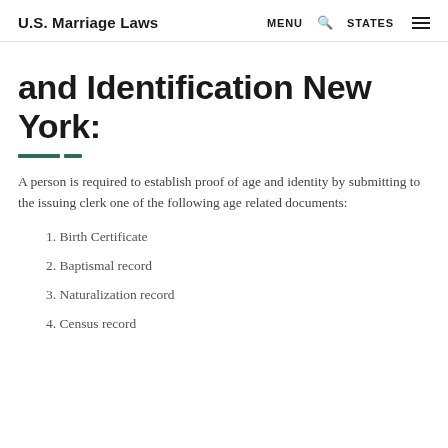U.S. Marriage Laws  MENU  🔍  STATES  ☰
and Identification New York:
A person is required to establish proof of age and identity by submitting to the issuing clerk one of the following age related documents:
1. Birth Certificate
2. Baptismal record
3. Naturalization record
4. Census record